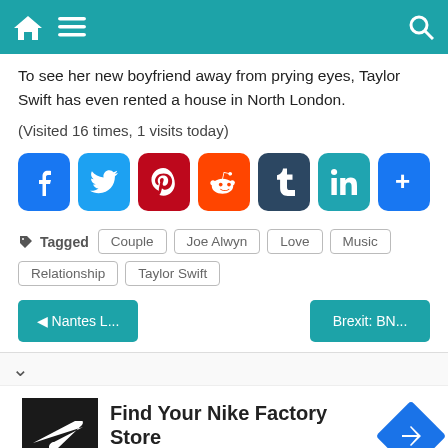Navigation bar with home, menu, and search icons
To see her new boyfriend away from prying eyes, Taylor Swift has even rented a house in North London.
(Visited 16 times, 1 visits today)
[Figure (other): Social share buttons: Facebook, Twitter, Pinterest, Reddit, Tumblr, LinkedIn, More]
Tagged  Couple  Joe Alwyn  Love  Music  Relationship  Taylor Swift
◄ Nantes L...   Brexit: BN...
[Figure (other): Advertisement: Find Your Nike Factory Store - Nike Factory Store with navigation icon]